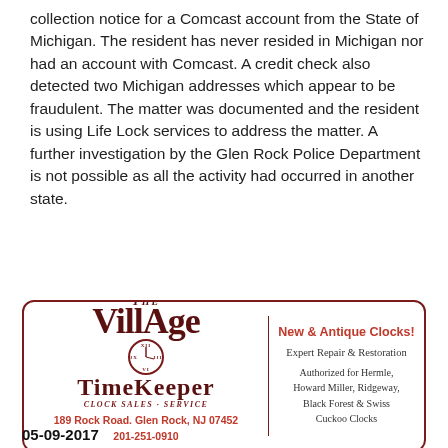collection notice for a Comcast account from the State of Michigan. The resident has never resided in Michigan nor had an account with Comcast. A credit check also detected two Michigan addresses which appear to be fraudulent. The matter was documented and the resident is using Life Lock services to address the matter. A further investigation by the Glen Rock Police Department is not possible as all the activity had occurred in another state.
[Figure (other): Advertisement for The Village Timekeeper clock shop in Glen Rock, NJ. Left side shows logo with stylized text 'The Village TimeKeeper' with a clock face graphic, address '189 Rock Road. Glen Rock, NJ 07452', phone '201-251-0910', website 'thevillagetimekeeper.com'. Right side shows 'New & Antique Clocks!', 'Expert Repair & Restoration', 'Authorized for Hermle, Howard Miller, Ridgeway, Black Forest & Swiss Cuckoo Clocks'.]
05-09-2017